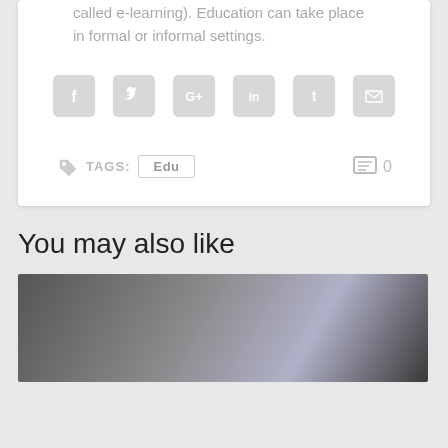called e-learning). Education can take place in formal or informal settings.
[Figure (infographic): Social media sharing icons: Facebook, Twitter, Google+, LinkedIn, Tumblr, Email — all in light grey rounded square buttons]
TAGS: Edu  [comment icon] 0
You may also like
[Figure (photo): Photo of a person (head visible) at a computer in a classroom or office setting, partially cropped at bottom of page]